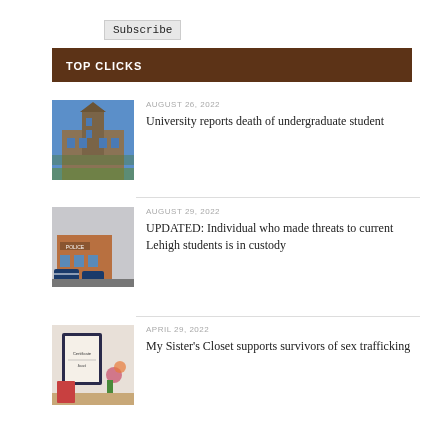Subscribe
TOP CLICKS
[Figure (photo): Photo of a university building with a tower, blue sky, ivy-covered brick facade]
AUGUST 26, 2022
University reports death of undergraduate student
[Figure (photo): Photo of a police station building with police vehicles parked outside]
AUGUST 29, 2022
UPDATED: Individual who made threats to current Lehigh students is in custody
[Figure (photo): Photo of a framed certificate or award with flowers and decorative items]
APRIL 29, 2022
My Sister's Closet supports survivors of sex trafficking